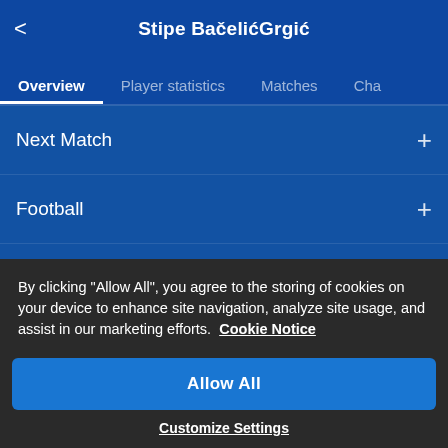Stipe BačelićGrgić
Overview
Player statistics
Matches
Cha
Next Match
Football
Basketball
Visit localized Football live score version of AiScore
By clicking "Allow All", you agree to the storing of cookies on your device to enhance site navigation, analyze site usage, and assist in our marketing efforts.  Cookie Notice
Allow All
Customize Settings